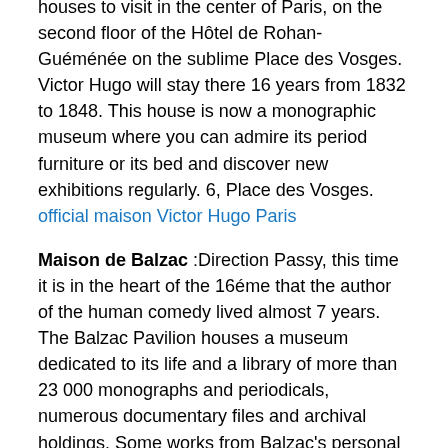houses to visit in the center of Paris, on the second floor of the Hôtel de Rohan-Guéménée on the sublime Place des Vosges. Victor Hugo will stay there 16 years from 1832 to 1848. This house is now a monographic museum where you can admire its period furniture or its bed and discover new exhibitions regularly. 6, Place des Vosges. official maison Victor Hugo Paris
Maison de Balzac :Direction Passy, this time it is in the heart of the 16éme that the author of the human comedy lived almost 7 years. The Balzac Pavilion houses a museum dedicated to its life and a library of more than 23 000 monographs and periodicals, numerous documentary files and archival holdings. Some works from Balzac's personal collection are also exhibited in the work cabinet. Located at 7, rue Raynouard. Now in renovation check site: official Maison de Balzac Paris